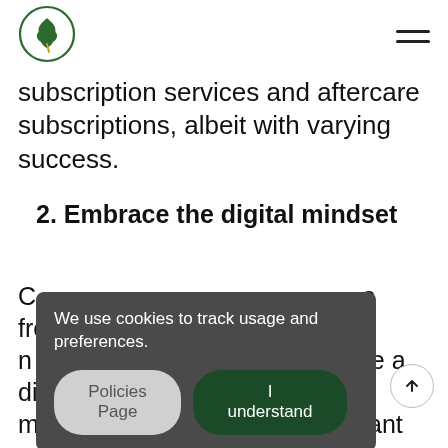[Logo: oak leaf in circle] [Hamburger menu icon]
subscription services and aftercare subscriptions, albeit with varying success.
2. Embrace the digital mindset
C... s from digital n... ce a digital m... ificant cultural s... nderstand... c... elivery cycles to provide value to customers earlier, and
We use cookies to track usage and preferences.
Policies Page | I understand